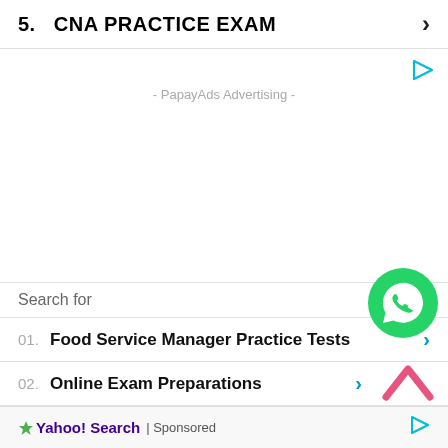5.   CNA PRACTICE EXAM
- PapayAds Advertising -
Search for
01.  Food Service Manager Practice Tests
02.  Online Exam Preparations
Yahoo! Search | Sponsored